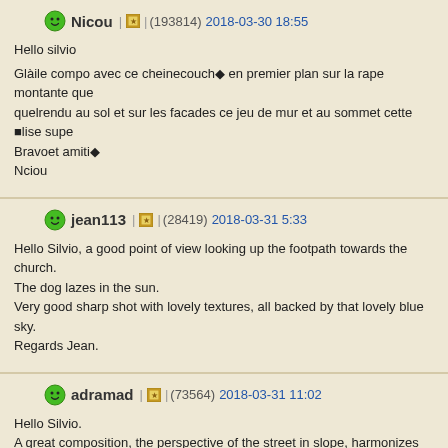Nicou (193814) 2018-03-30 18:55
Hello silvio

Glaile compo avec ce cheinecouch en premier plan sur la rape montante quelrendu au sol et sur les facades ce jeu de mur et au sommet cette lise supe
Bravoet amiti
Nciou
jean113 (28419) 2018-03-31 5:33
Hello Silvio, a good point of view looking up the footpath towards the church.
The dog lazes in the sun.
Very good sharp shot with lovely textures, all backed by that lovely blue sky.
Regards Jean.
adramad (73564) 2018-03-31 11:02
Hello Silvio.
A great composition, the perspective of the street in slope, harmonizes very well church that stands out at the top, the dog quietly lying in the foreground, adds a
Colorful, sharpness and brightness are perfect.
Very good composition, magnificent presentation.
Enjoy the weekend.
Warm greetings, my friend.